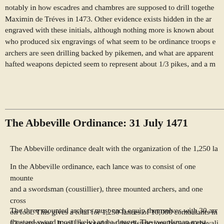notably in how escadres and chambres are supposed to drill together. Maximin de Tréves in 1473. Other evidence exists hidden in the art engraved with these initials, although nothing more is known about who produced six engravings of what seem to be ordinance troops e archers are seen drilling backed by pikemen, and what are apparent hafted weapons depicted seem to represent about 1/3 pikes, and a m
The Abbeville Ordinance: 31 July 1471
The Abbeville ordinance dealt with the organization of the 1,250 la
In the Abbeville ordinance, each lance was to consist of one mount and a swordsman (coustillier), three mounted archers, and one cros on foot. This gives a total for 1,250 lances of 10,000 combatants in 12 companies. It will be noted that the distinctions between chevali been dropped: the army is becoming a professional one, rank no lor all the men at arms are paid the same. The equipment of certain me man-at-arms must have full armour, three horses (two being ridden saddle and chamfron He was also issued with a vermillion velvet S we are not told how it was to be fixed.
The three mounted archers must each equip themselves with 30 arr (bastard sword most likely) and a dagger. The swordsman must hav both he and the archers were issued with a blue and white jacket be